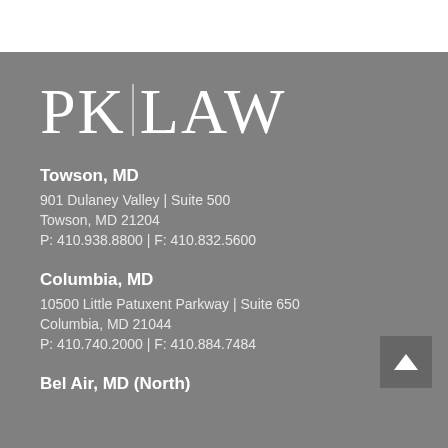[Figure (logo): PK LAW logo in white serif font on gray background with vertical divider between PK and LAW]
Towson, MD
901 Dulaney Valley | Suite 500
Towson, MD 21204
P: 410.938.8800 | F: 410.832.5600
Columbia, MD
10500 Little Patuxent Parkway | Suite 650
Columbia, MD 21044
P: 410.740.2000 | F: 410.884.7484
Bel Air, MD (North)